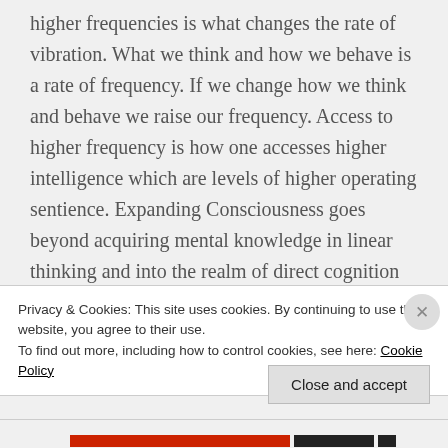higher frequencies is what changes the rate of vibration. What we think and how we behave is a rate of frequency. If we change how we think and behave we raise our frequency. Access to higher frequency is how one accesses higher intelligence which are levels of higher operating sentience. Expanding Consciousness goes beyond acquiring mental knowledge in linear thinking and into the realm of direct cognition (Direct Knowing) and higher sensory perceptual experiences. Expanding
Privacy & Cookies: This site uses cookies. By continuing to use this website, you agree to their use.
To find out more, including how to control cookies, see here: Cookie Policy
Close and accept